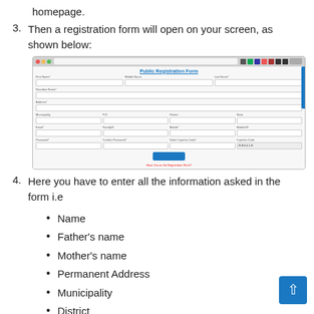homepage.
3. Then a registration form will open on your screen, as shown below:
[Figure (screenshot): Screenshot of a Public Registration Form in a web browser, showing fields for First Name, Middle Name, Last Name, Guardian Name, Address, Municipality, P.O., District, State, Email, FamilyID, Mobile, Mobile/ID, Password, Confirm Password, Solve Captcha Code, Captcha Code, and a Submit button with a link below it.]
4. Here you have to enter all the information asked in the form i.e
Name
Father's name
Mother's name
Permanent Address
Municipality
District